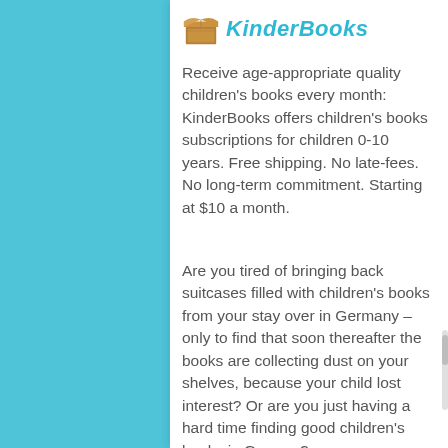KinderBooks
Receive age-appropriate quality children's books every month: KinderBooks offers children's books subscriptions for children 0-10 years. Free shipping. No late-fees. No long-term commitment. Starting at $10 a month.
Are you tired of bringing back suitcases filled with children's books from your stay over in Germany – only to find that soon thereafter the books are collecting dust on your shelves, because your child lost interest? Or are you just having a hard time finding good children's books in German?